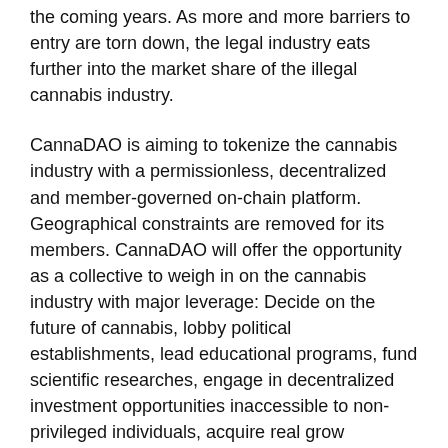the coming years. As more and more barriers to entry are torn down, the legal industry eats further into the market share of the illegal cannabis industry.
CannaDAO is aiming to tokenize the cannabis industry with a permissionless, decentralized and member-governed on-chain platform. Geographical constraints are removed for its members. CannaDAO will offer the opportunity as a collective to weigh in on the cannabis industry with major leverage: Decide on the future of cannabis, lobby political establishments, lead educational programs, fund scientific researches, engage in decentralized investment opportunities inaccessible to non-privileged individuals, acquire real grow operations, and build a community treasury to fund different ventures.
The CannaDAO is made up of three components: